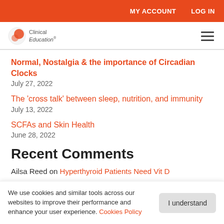MY ACCOUNT   LOG IN
[Figure (logo): Clinical Education logo with icon]
Normal, Nostalgia & the importance of Circadian Clocks
July 27, 2022
The 'cross talk' between sleep, nutrition, and immunity
July 13, 2022
SCFAs and Skin Health
June 28, 2022
Recent Comments
Ailsa Reed on Hyperthyroid Patients Need Vit D
We use cookies and similar tools across our websites to improve their performance and enhance your user experience. Cookies Policy
I understand